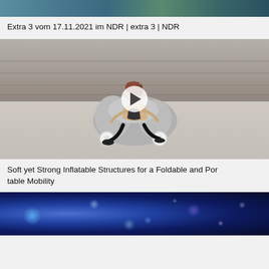[Figure (photo): Top portion of a video thumbnail showing people, partially cropped at the top of the page]
Extra 3 vom 17.11.2021 im NDR | extra 3 | NDR
[Figure (photo): A person riding a grey inflatable scooter/mobility device (Poimo) in front of stone building steps. A play button overlay is visible in the center indicating this is a video thumbnail.]
Soft yet Strong Inflatable Structures for a Foldable and Portable Mobility
[Figure (photo): Colorful abstract image with blue and purple tones, showing bubble-like or cosmic particle structures, partially cropped at the bottom of the page]